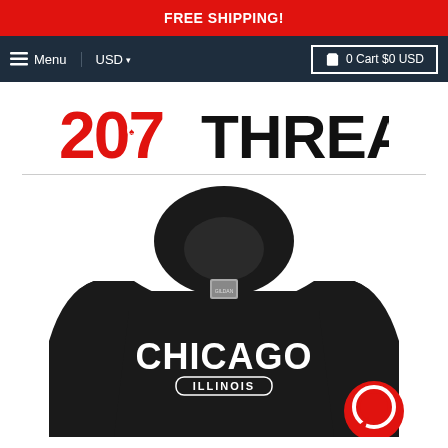FREE SHIPPING!
☰ Menu   USD ▾   🛍 0 Cart $0 USD
[Figure (logo): 207 Threads logo with red '207' and black 'THREADS' text, red state icon inside the '0']
[Figure (photo): Black hoodie sweatshirt with 'CHICAGO' printed in large white arched letters and 'ILLINOIS' in a banner below, on white background. A red circular chat icon is in the bottom right corner.]